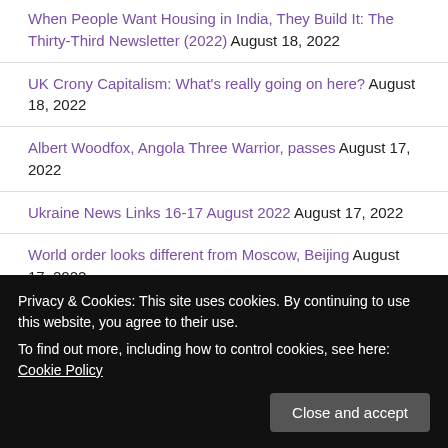When People Want Housing in India, They Build It: The Thirty-Third Newsletter (2022) August 18, 2022
UK Crony Capitalism: What's really going on here? August 18, 2022
Albert Woodfox, Angola Three Warrior, passes August 17, 2022
Ukraine News Links 16-17 August 2022 August 17, 2022
World order looks different from Moscow, Beijing August 17, 2022
Filipino Vice Presidential Candidate Arrested: By... [partially visible]
Privacy & Cookies: This site uses cookies. By continuing to use this website, you agree to their use.
To find out more, including how to control cookies, see here: Cookie Policy
Google? With Lowkey & Alan MacLeod August 17, 2022